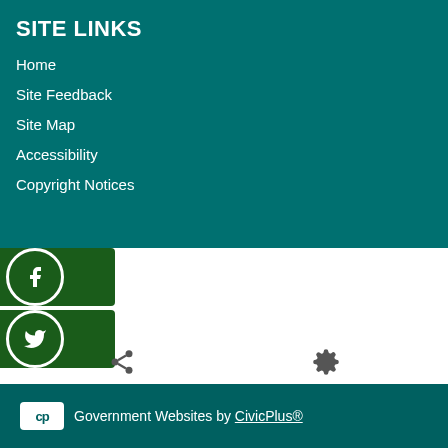SITE LINKS
Home
Site Feedback
Site Map
Accessibility
Copyright Notices
[Figure (logo): Facebook social media button with dark green background and white circle icon containing Facebook 'f' logo]
[Figure (logo): Twitter social media button with dark green background and white circle icon containing Twitter bird logo]
[Figure (infographic): Share icon (three connected dots) and gear/settings icon displayed in white area]
Government Websites by CivicPlus®